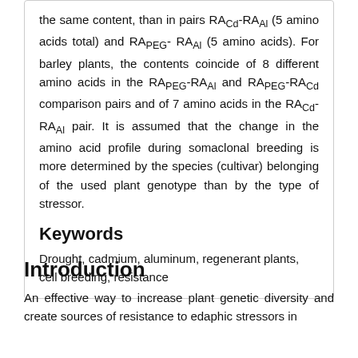the same content, than in pairs RACd-RAAI (5 amino acids total) and RAPEG- RAAI (5 amino acids). For barley plants, the contents coincide of 8 different amino acids in the RAPEG-RAAI and RAPEG-RACd comparison pairs and of 7 amino acids in the RACd-RAAI pair. It is assumed that the change in the amino acid profile during somaclonal breeding is more determined by the species (cultivar) belonging of the used plant genotype than by the type of stressor.
Keywords
Drought, cadmium, aluminum, regenerant plants, cell breeding, resistance
Introduction
An effective way to increase plant genetic diversity and create sources of resistance to edaphic stressors in